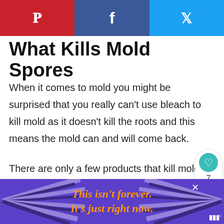Pinterest | Facebook | Twitter
What Kills Mold Spores
When it comes to mold you might be surprised that you really can't use bleach to kill mold as it doesn't kill the roots and this means the mold can and will come back.
There are only a few products that kill mold spores and these include tea tree oil, hydrogen peroxide, and white vinegar. The la...kills 99%...
[Figure (infographic): Advertisement banner: purple background with radiating stripes, orange italic text reading 'This isn't forever. It's just right now.']